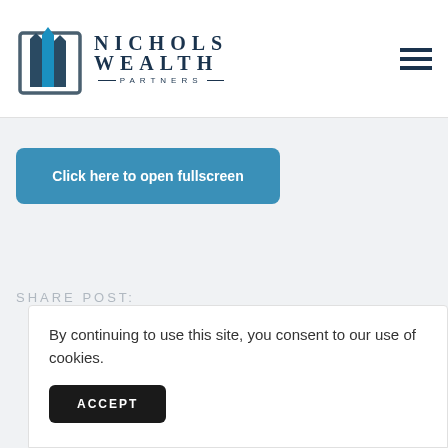[Figure (logo): Nichols Wealth Partners logo with stylized blue building/tower graphic and text 'NICHOLS WEALTH PARTNERS']
[Figure (other): Hamburger menu icon with three horizontal dark navy lines]
Click here to open fullscreen
SHARE POST:
By continuing to use this site, you consent to our use of cookies.
ACCEPT